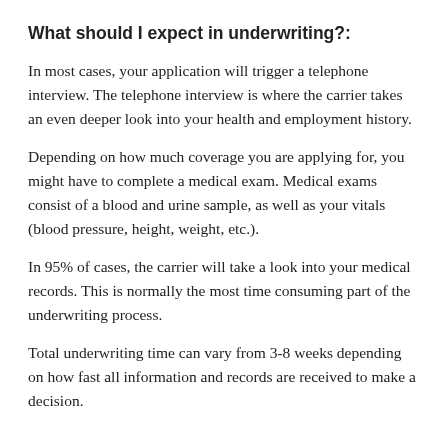What should I expect in underwriting?:
In most cases, your application will trigger a telephone interview. The telephone interview is where the carrier takes an even deeper look into your health and employment history.
Depending on how much coverage you are applying for, you might have to complete a medical exam. Medical exams consist of a blood and urine sample, as well as your vitals (blood pressure, height, weight, etc.).
In 95% of cases, the carrier will take a look into your medical records. This is normally the most time consuming part of the underwriting process.
Total underwriting time can vary from 3-8 weeks depending on how fast all information and records are received to make a decision.